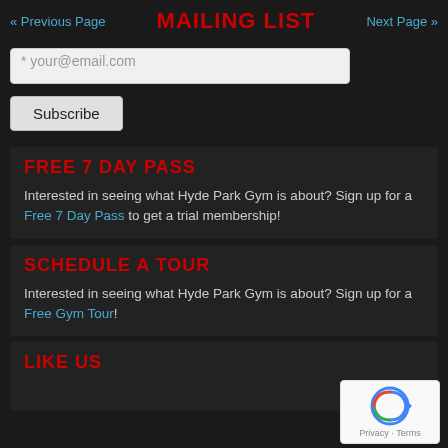« Previous Page   MAILING LIST   Next Page »
* your@email.com
Subscribe
FREE 7 DAY PASS
Interested in seeing what Hyde Park Gym is about? Sign up for a Free 7 Day Pass to get a trial membership!
SCHEDULE A TOUR
Interested in seeing what Hyde Park Gym is about? Sign up for a Free Gym Tour!
LIKE US
[Figure (other): reCAPTCHA badge with Privacy and Terms links]